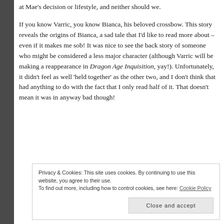at Mae's decision or lifestyle, and neither should we.
If you know Varric, you know Bianca, his beloved crossbow. This story reveals the origins of Bianca, a sad tale that I'd like to read more about – even if it makes me sob! It was nice to see the back story of someone who might be considered a less major character (although Varric will be making a reappearance in Dragon Age Inquisition, yay!). Unfortunately, it didn't feel as well 'held together' as the other two, and I don't think that had anything to do with the fact that I only read half of it. That doesn't mean it was in anyway bad though!
Privacy & Cookies: This site uses cookies. By continuing to use this website, you agree to their use.
To find out more, including how to control cookies, see here: Cookie Policy